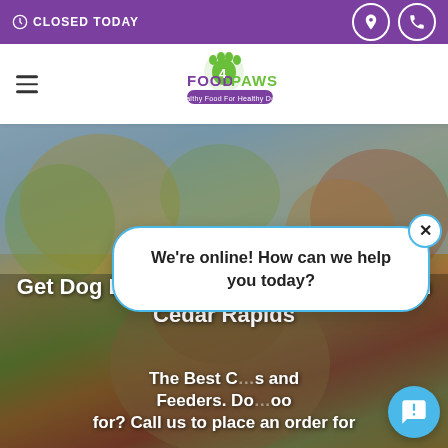CLOSED TODAY
[Figure (logo): Food 4 Paws logo with green paw print and purple/green text, tagline: Healthy Food For Healthy Dogs]
[Figure (photo): Outdoor autumn scene with blurred trees and a dog visible in the foreground, serving as hero background image]
Get Dog Bowls and Feeders for Dogs in Cedar Rapids
The Best Dog Bowls and Feeders. Do you know what you're looking for? Call us to place an order for
[Figure (screenshot): Chat popup bubble saying 'We're online! How can we help you today?' with a close X button and blue chat icon button]